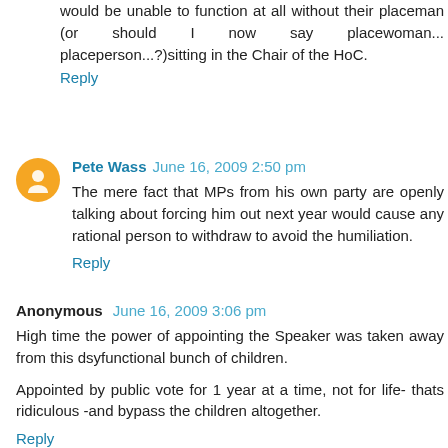would be unable to function at all without their placeman (or should I now say placewoman... placeperson...?)sitting in the Chair of the HoC.
Reply
Pete Wass  June 16, 2009 2:50 pm
The mere fact that MPs from his own party are openly talking about forcing him out next year would cause any rational person to withdraw to avoid the humiliation.
Reply
Anonymous  June 16, 2009 3:06 pm
High time the power of appointing the Speaker was taken away from this dsyfunctional bunch of children.
Appointed by public vote for 1 year at a time, not for life- thats ridiculous -and bypass the children altogether.
Reply